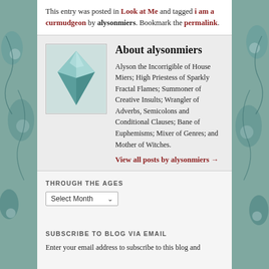This entry was posted in Look at Me and tagged i am a curmudgeon by alysonmiers. Bookmark the permalink.
About alysonmiers
Alyson the Incorrigible of House Miers; High Priestess of Sparkly Fractal Flames; Summoner of Creative Insults; Wrangler of Adverbs, Semicolons and Conditional Clauses; Bane of Euphemisms; Mixer of Genres; and Mother of Witches.
View all posts by alysonmiers →
THROUGH THE AGES
Select Month
SUBSCRIBE TO BLOG VIA EMAIL
Enter your email address to subscribe to this blog and